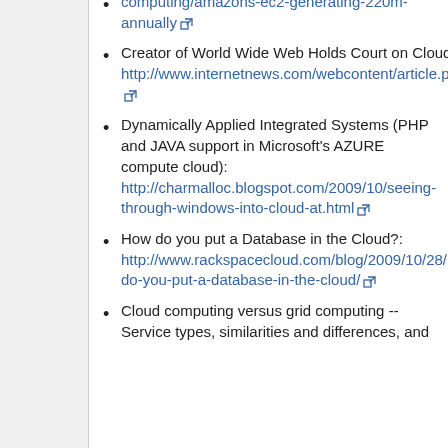computing/amazons-ec2-generating-220m-annually [external link]
Creator of World Wide Web Holds Court on Cloud: http://www.internetnews.com/webcontent/article.php/3845401 [external link]
Dynamically Applied Integrated Systems (PHP and JAVA support in Microsoft's AZURE compute cloud): http://charmalloc.blogspot.com/2009/10/seeing-through-windows-into-cloud-at.html [external link]
How do you put a Database in the Cloud?: http://www.rackspacecloud.com/blog/2009/10/28/how-do-you-put-a-database-in-the-cloud/ [external link]
Cloud computing versus grid computing -- Service types, similarities and differences, and